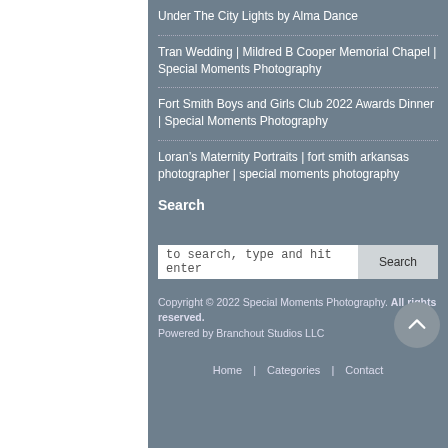Under The City Lights by Alma Dance
Tran Wedding | Mildred B Cooper Memorial Chapel | Special Moments Photography
Fort Smith Boys and Girls Club 2022 Awards Dinner | Special Moments Photography
Loran’s Maternity Portraits | fort smith arkansas photographer | special moments photography
Search
to search, type and hit enter
Copyright © 2022 Special Moments Photography. All rights reserved.
Powered by Branchout Studios LLC
Home | Categories | Contact